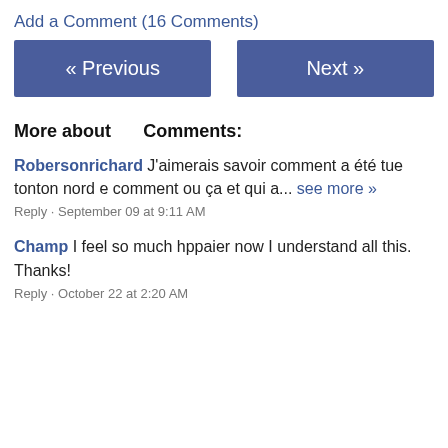Add a Comment (16 Comments)
« Previous
Next »
More about
Comments:
Robersonrichard J'aimerais savoir comment a été tue tonton nord e comment ou ça et qui a... see more »
Reply · September 09 at 9:11 AM
Champ I feel so much hppaier now I understand all this. Thanks!
Reply · October 22 at 2:20 AM